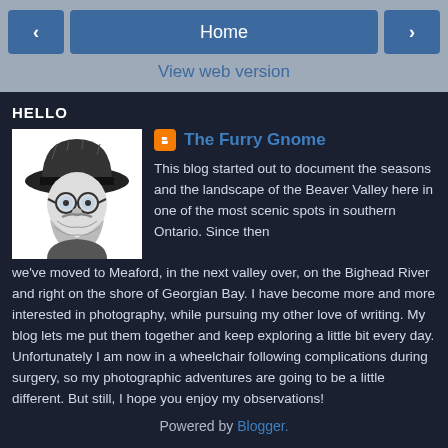< Home >
View web version
HELLO
[Figure (illustration): Black and white illustration of a gnome character wearing a wide-brimmed hat, round glasses, and a beard]
The Furry Gnome
This blog started out to document the seasons and the landscape of the Beaver Valley here in one of the most scenic spots in southern Ontario. Since then we've moved to Meaford, in the next valley over, on the Bighead River and right on the shore of Georgian Bay. I have become more and more interested in photography, while pursuing my other love of writing. My blog lets me put them together and keep exploring a little bit every day. Unfortunately I am now in a wheelchair following complications during surgery, so my photographic adventures are going to be a little different. But still, I hope you enjoy my observations!
View my complete profile
Powered by Blogger.